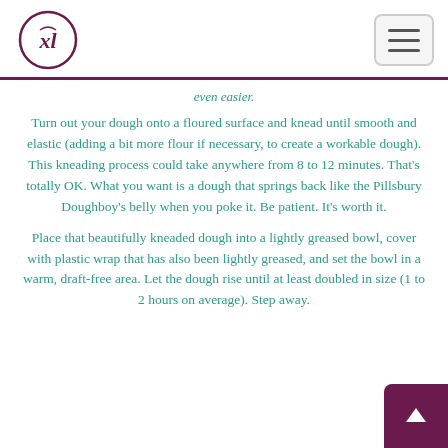XL logo and navigation header
even easier.
Turn out your dough onto a floured surface and knead until smooth and elastic (adding a bit more flour if necessary, to create a workable dough). This kneading process could take anywhere from 8 to 12 minutes. That's totally OK. What you want is a dough that springs back like the Pillsbury Doughboy's belly when you poke it. Be patient. It's worth it.
Place that beautifully kneaded dough into a lightly greased bowl, cover with plastic wrap that has also been lightly greased, and set the bowl in a warm, draft-free area. Let the dough rise until at least doubled in size (1 to 2 hours on average). Step away.